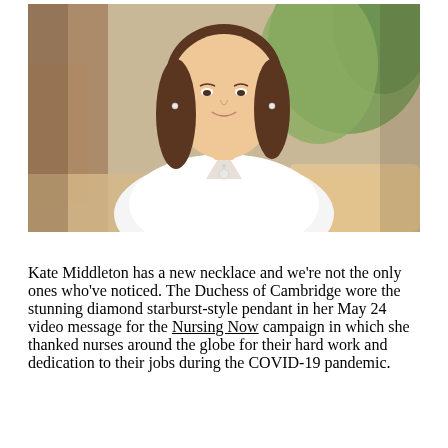[Figure (photo): Portrait photo of Kate Middleton wearing a white blazer and diamond starburst-style pendant necklace, seated indoors with greenery and ornate decor in the background.]
Kate Middleton has a new necklace and we're not the only ones who've noticed. The Duchess of Cambridge wore the stunning diamond starburst-style pendant in her May 24 video message for the Nursing Now campaign in which she thanked nurses around the globe for their hard work and dedication to their jobs during the COVID-19 pandemic.